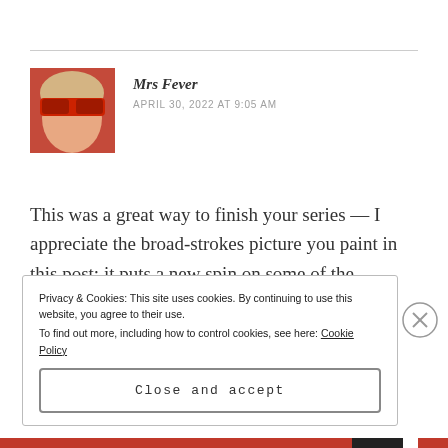[Figure (photo): Profile photo of Mrs Fever, a woman wearing large red sunglasses]
Mrs Fever
APRIL 30, 2022 AT 9:05 AM
This was a great way to finish your series — I appreciate the broad-strokes picture you paint in this post; it puts a new spin on some of the personal-level details you shared along the way.
Privacy & Cookies: This site uses cookies. By continuing to use this website, you agree to their use.
To find out more, including how to control cookies, see here: Cookie Policy
Close and accept